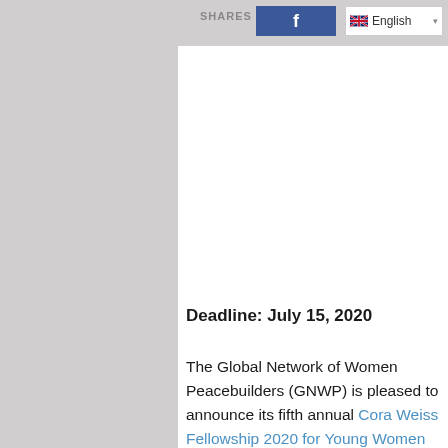SHARES  English
Deadline: July 15, 2020
The Global Network of Women Peacebuilders (GNWP) is pleased to announce its fifth annual Cora Weiss Fellowship 2020 for Young Women Peacebuilders.